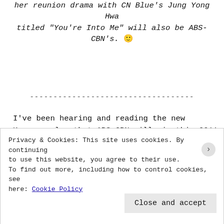her reunion drama with CN Blue's Jung Yong Hwa titled “You’re Into Me” will also be ABS-CBN’s. 🙂
-----------------------------------
I’ve been hearing and reading the new Koreanovelas that ABS-CBN will air this 2011 by their multiply site. And at last, they already have its official video on their site, that for sure one day from now, will be showed in television. Thanks a lot to Karen Cepe, for
Privacy & Cookies: This site uses cookies. By continuing to use this website, you agree to their use. To find out more, including how to control cookies, see here: Cookie Policy
Close and accept